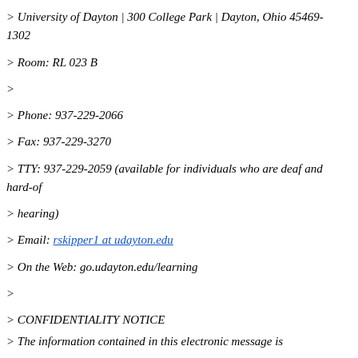> University of Dayton | 300 College Park | Dayton, Ohio 45469-1302
> Room: RL 023 B
>
> Phone: 937-229-2066
> Fax: 937-229-3270
> TTY: 937-229-2059 (available for individuals who are deaf and hard-of
> hearing)
> Email: rskipper1 at udayton.edu
> On the Web: go.udayton.edu/learning
>
> CONFIDENTIALITY NOTICE
> The information contained in this electronic message is